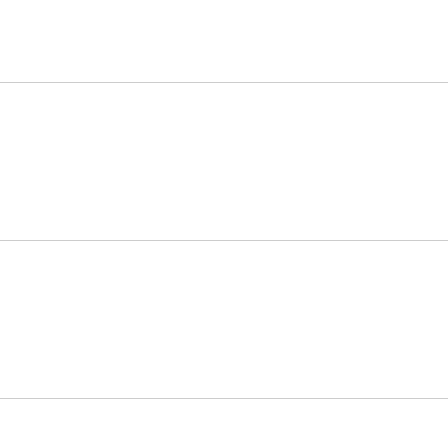(NASPGHAN). J Pediatr Gastroe...
View in: PubMed
Score: 0.028
8. Dabelea D, Talton JW, D'Agostin... Marcovina SM, Hamman RF. Ca... increased arterial stiffness in you... Diabetes Care. 2013 Dec; 36(12...
View in: PubMed
Score: 0.022
9. Glueck CJ, Morrison JA, Daniels... oligomenorrhea, polycystic ovary... predict metabolic syndrome and... 159(2):308-13.e2.
View in: PubMed
Score: 0.019
10. Gidding SS, Carnethon MR, Dar... cardiovascular risk is associated... relative wall thickness, and left a...